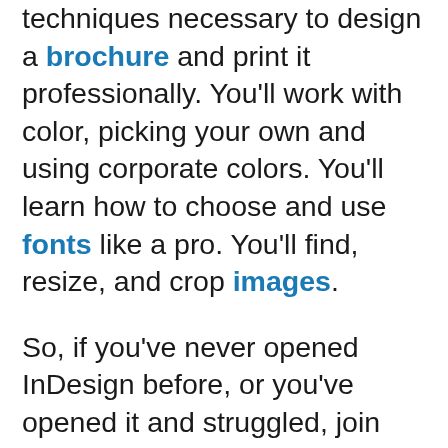techniques necessary to design a brochure and print it professionally. You'll work with color, picking your own and using corporate colors. You'll learn how to choose and use fonts like a pro. You'll find, resize, and crop images.
So, if you've never opened InDesign before, or you've opened it and struggled, join this course and discover the easy way to make beautiful design work in Adobe InDesign.
New to designing for print? Learn print design in our course The Basics of Print Design.